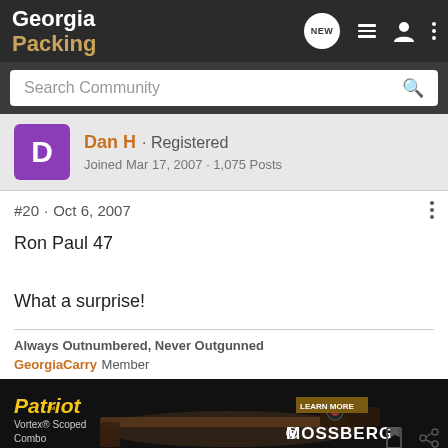Georgia Packing
Search Community
Dan H · Registered
Joined Mar 17, 2007 · 1,075 Posts
#20 · Oct 6, 2007
Ron Paul 47

What a surprise!
Always Outnumbered, Never Outgunned
GeorgiaCarry Member
[Figure (screenshot): Advertisement for Patriot Vortex Scoped Combo by Mossberg featuring a rifle on a dark background with 'LEARN MORE' button.]